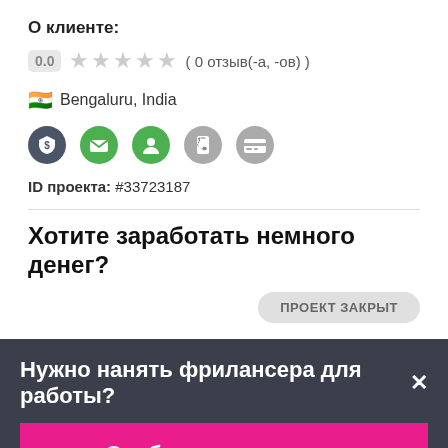О клиенте:
0.0  ★★★★★  ( 0 отзыв(-а, -ов) )
🇮🇳 Bengaluru, India
[Figure (infographic): Row of verification icons: shield with dollar, green envelope, green person, phone, credit card]
ID проекта: #33723187
Хотите заработать немного денег?
ПРОЕКТ ЗАКРЫТ
Нужно нанять фрилансера для работы?
Опубликовать проект